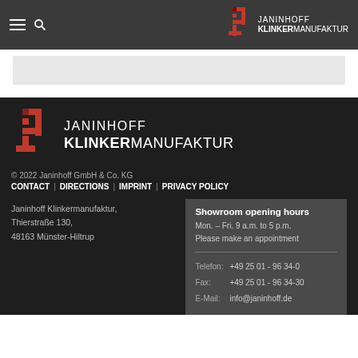Janinhoff Klinkermanufaktur - header navigation bar
[Figure (logo): Janinhoff Klinkermanufaktur logo in header - red J letter with JANINHOFF KLINKERMANUFAKTUR text]
[Figure (logo): Janinhoff Klinkermanufaktur large logo in footer - red J letter with JANINHOFF KLINKERMANUFAKTUR text]
© 2022 Janinhoff GmbH & Co. KG
CONTACT | DIRECTIONS | IMPRINT | PRIVACY POLICY
Janinhoff Klinkermanufaktur, Thierstraße 130, 48163 Münster-Hiltrup
Showroom opening hours
Mon. – Fri. 9 a.m. to 5 p.m.
Please make an appointment
Telefon: +49 25 01 - 96 34-0
Fax: +49 25 01 - 96 34-30
E-Mail: info@janinhoff.de